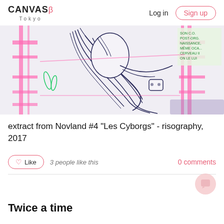CANVAS β Tokyo — Log in   Sign up
[Figure (illustration): Close-up photograph of a risography printed manga/comic page showing an anime-style female cyborg character with long flowing hair, wearing a white outfit. The print uses pink/magenta and green fluorescent inks alongside dark blue line art, with architectural elements in the background. Text visible in top right reads: SON (OR POST-ORG, NAISSANCE, MÊME OCA, CERVEAU, ON LE LUI). The print appears to be lying on a light surface.]
extract from Novland #4 "Les Cyborgs" - risography, 2017
3 people like this
0 comments
Twice a time